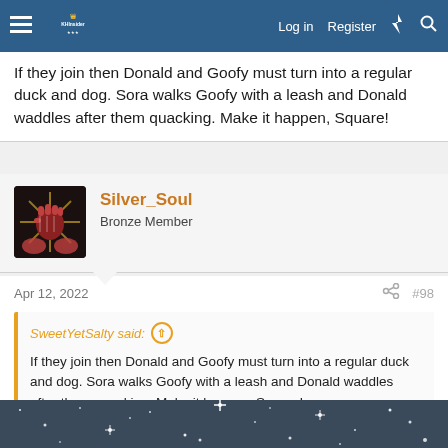Forum navigation bar with hamburger menu, logo, Log in, Register, lightning icon, search icon
If they join then Donald and Goofy must turn into a regular duck and dog. Sora walks Goofy with a leash and Donald waddles after them quacking. Make it happen, Square!
[Figure (photo): Forum user avatar for Silver_Soul showing stylized fist with sunburst design on dark background]
Silver_Soul
Bronze Member
Apr 12, 2022
#98
SweetYetSalty said:
If they join then Donald and Goofy must turn into a regular duck and dog. Sora walks Goofy with a leash and Donald waddles after them quacking. Make it happen, Square!
That would be awesome, but I had something more like this in mind:
[Figure (photo): Night sky or starfield image with bright twinkling star points against dark blue-grey background]